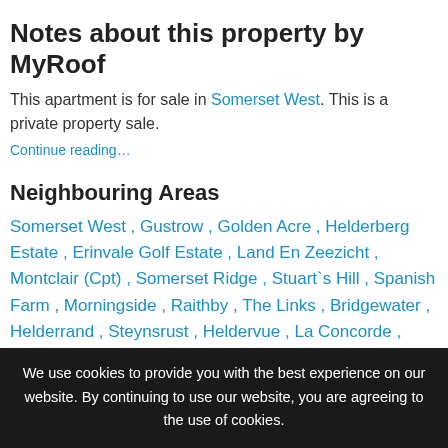Notes about this property by MyRoof
This apartment is for sale in Somerset West. This is a private property sale.
Continue reading…
Neighbouring Areas
Somerset West , Gustrow , Golden Acre , Helderberg Estate , Erinvale Golf Estate , Land En Zeezicht , Montclair (Cpt) , Somerset Ridge , Stuart`s Hill , Spanish Farm , Morningside , Raithby , The Links , Bridgewater , Helderrand , Steynsrust , Heldervue , La Concorde , Fairview Heights , Monte Sereno , Bel`Aire , Kalamunda , Westridge , Audas Estate , Bridgebank , Schonenberg
We use cookies to provide you with the best experience on our website. By continuing to use our website, you are agreeing to the use of cookies.